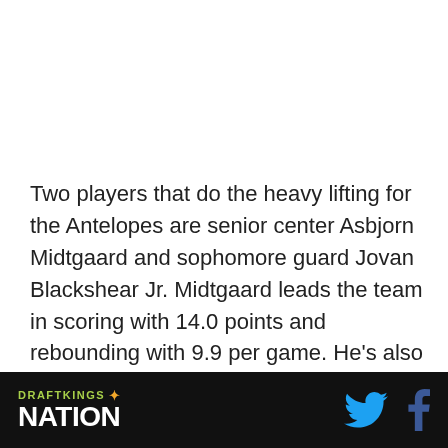Two players that do the heavy lifting for the Antelopes are senior center Asbjorn Midtgaard and sophomore guard Jovan Blackshear Jr. Midtgaard leads the team in scoring with 14.0 points and rebounding with 9.9 per game. He's also one of the best in the NCAA when it comes to field goal percentage at 70.6. Meanwhile, Blackshear Jr. is averaging 11.9 points, 5.3 assists (team-high), and
DRAFTKINGS NATION